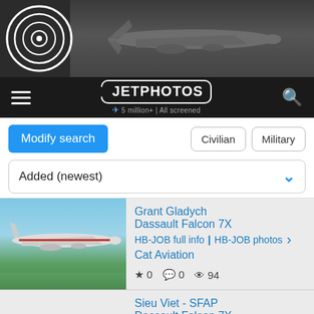[Figure (screenshot): JetPhotos website header with airplane photo and logo circle]
JETPHOTOS · 5 million+ | All screened
Modify search | Civilian | Military | Added (newest)
Grant Gladych
Dassault Falcon 7X
HB-JOB full info | HB-JOB photos
Cat Aviation
★ 0  💬 0  👁 94
Sieu Viet - SFAP
Dassault Falcon 7X
M-YJET photos
Private
★ 0  💬 0  👁 170